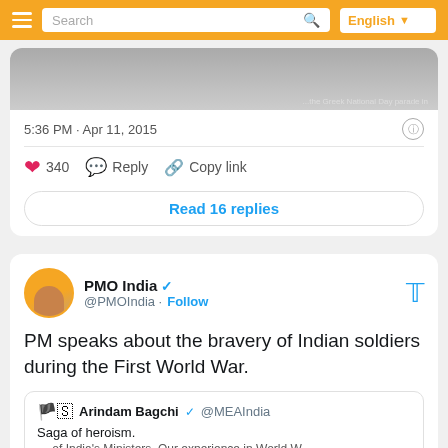Search | English
[Figure (screenshot): Partial image of Greek National Day parade]
5:36 PM · Apr 11, 2015
340  Reply  Copy link
Read 16 replies
PMO India @PMOIndia · Follow
PM speaks about the bravery of Indian soldiers during the First World War.
Arindam Bagchi @MEAIndia  Saga of heroism.